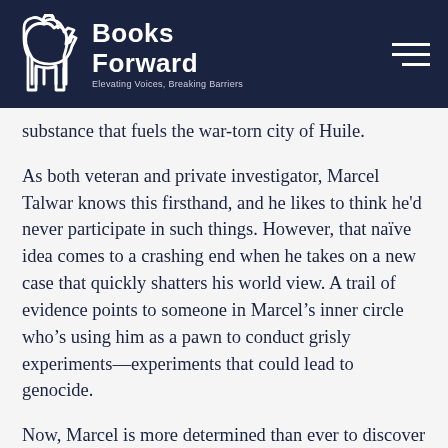[Figure (logo): Books Forward logo with horse/bookmark icon and tagline 'Elevating Voices, Breaking Barriers' on dark navy background]
substance that fuels the war-torn city of Huile.
As both veteran and private investigator, Marcel Talwar knows this firsthand, and he likes to think he'd never participate in such things. However, that naïve idea comes to a crashing end when he takes on a new case that quickly shatters his world view. A trail of evidence points to someone in Marcel's inner circle who's using him as a pawn to conduct grisly experiments—experiments that could lead to genocide.
Now, Marcel is more determined than ever to discover who's pulling the strings to this sinister plot. But the further he gets, the larger the target on his back becomes, and it's not long before Marcel has to ask